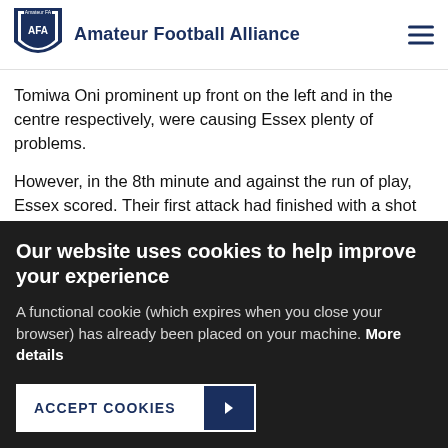Amateur Football Alliance
Tomiwa Oni prominent up front on the left and in the centre respectively, were causing Essex plenty of problems.
However, in the 8th minute and against the run of play, Essex scored. Their first attack had finished with a shot easily saved by Ricardo Pacheco, but a poor clearance went straight to an opponent who fed the ball through to Ainsworth and he slotted home from the edge of the area
Our website uses cookies to help improve your experience
A functional cookie (which expires when you close your browser) has already been placed on your machine. More details
ACCEPT COOKIES